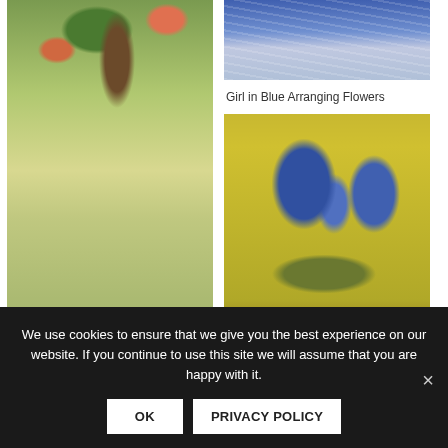[Figure (illustration): Japanese woodblock print showing a woman in blue kimono walking through a flower garden with a traditional building and trees in the background]
Hundred Flower Garden
[Figure (photo): Partial photo of a girl in blue striped clothing arranging flowers, cropped at top]
Girl in Blue Arranging Flowers
[Figure (illustration): Van Gogh style painting of irises in a vase against a yellow background]
[Figure (photo): Partial image visible at bottom left, mostly cropped]
We use cookies to ensure that we give you the best experience on our website. If you continue to use this site we will assume that you are happy with it.
OK
PRIVACY POLICY